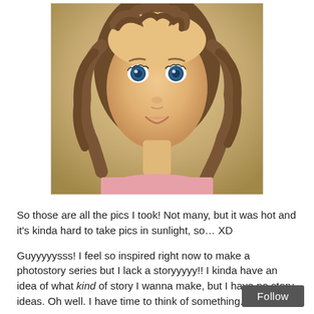[Figure (photo): Close-up photo of an American Girl doll with curly brown hair, blue eyes, and a pink shirt, photographed outdoors in sunlight with a blurred background.]
So those are all the pics I took! Not many, but it was hot and it’s kinda hard to take pics in sunlight, so… XD
Guyyyyysss! I feel so inspired right now to make a photostory series but I lack a storyyyyy!! I kinda have an idea of what kind of story I wanna make, but I have no story ideas. Oh well. I have time to think of something. 😉